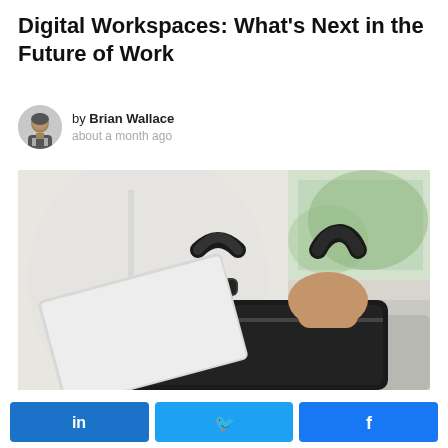Digital Workspaces: What's Next in the Future of Work
by Brian Wallace
about a month ago
[Figure (photo): Person in white shirt removing a laptop from a black bag, seated on a couch near a window with blurred greenery outside.]
[Figure (infographic): Social share buttons: LinkedIn (blue), Twitter (light blue), Facebook (blue)]